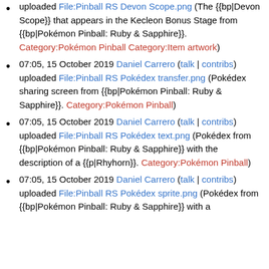uploaded File:Pinball RS Devon Scope.png (The {{bp|Devon Scope}} that appears in the Kecleon Bonus Stage from {{bp|Pokémon Pinball: Ruby & Sapphire}}. Category:Pokémon Pinball Category:Item artwork)
07:05, 15 October 2019 Daniel Carrero (talk | contribs) uploaded File:Pinball RS Pokédex transfer.png (Pokédex sharing screen from {{bp|Pokémon Pinball: Ruby & Sapphire}}. Category:Pokémon Pinball)
07:05, 15 October 2019 Daniel Carrero (talk | contribs) uploaded File:Pinball RS Pokédex text.png (Pokédex from {{bp|Pokémon Pinball: Ruby & Sapphire}} with the description of a {{p|Rhyhorn}}. Category:Pokémon Pinball)
07:05, 15 October 2019 Daniel Carrero (talk | contribs) uploaded File:Pinball RS Pokédex sprite.png (Pokédex from {{bp|Pokémon Pinball: Ruby & Sapphire}} with a